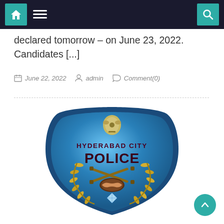Navigation bar with home, menu, and search icons
declared tomorrow – on June 23, 2022. Candidates [...]
June 22, 2022  admin  Comment(0)
[Figure (logo): Hyderabad City Police badge/shield logo in blue with gold laurel wreath, crossed lathis, handshake, diamond, and 'HYDERABAD CITY POLICE' text with Ashoka emblem at top]